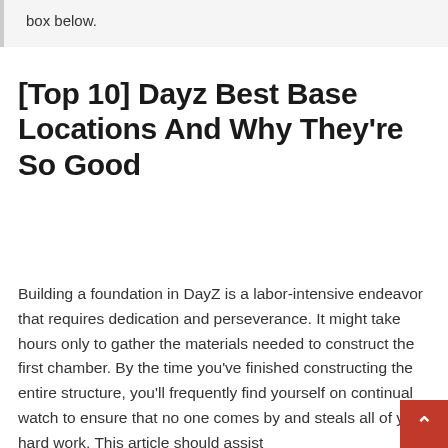box below.
[Top 10] Dayz Best Base Locations And Why They're So Good
Building a foundation in DayZ is a labor-intensive endeavor that requires dedication and perseverance. It might take hours only to gather the materials needed to construct the first chamber. By the time you've finished constructing the entire structure, you'll frequently find yourself on continual watch to ensure that no one comes by and steals all of your hard work. This article should assist